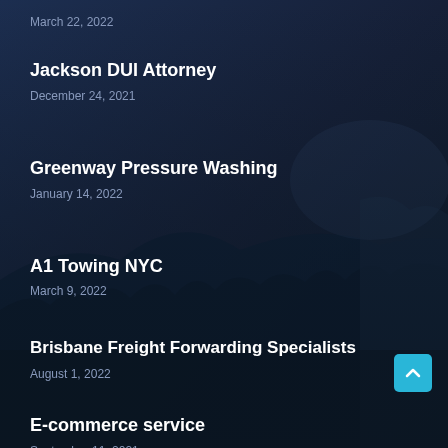March 22, 2022
Jackson DUI Attorney
December 24, 2021
Greenway Pressure Washing
January 14, 2022
A1 Towing NYC
March 9, 2022
Brisbane Freight Forwarding Specialists
August 1, 2022
E-commerce service
September 11, 2021